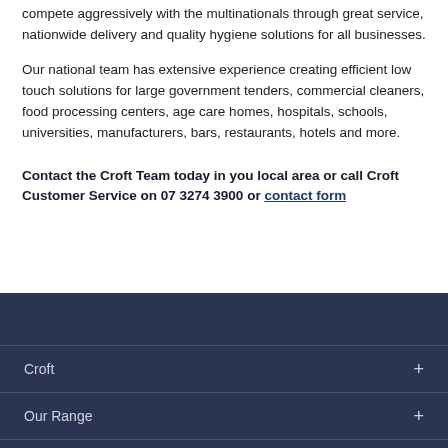compete aggressively with the multinationals through great service, nationwide delivery and quality hygiene solutions for all businesses.
Our national team has extensive experience creating efficient low touch solutions for large government tenders, commercial cleaners, food processing centers, age care homes, hospitals, schools, universities, manufacturers, bars, restaurants, hotels and more.
Contact the Croft Team today in you local area or call Croft Customer Service on 07 3274 3900 or contact form
Croft
Our Range